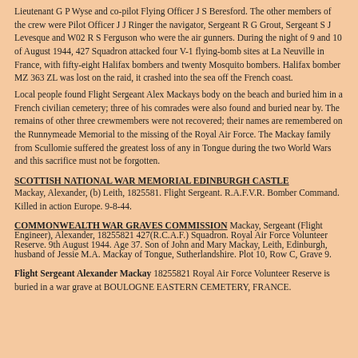Lieutenant G P Wyse and co-pilot Flying Officer J S Beresford. The other members of the crew were Pilot Officer J J Ringer the navigator, Sergeant R G Grout, Sergeant S J Levesque and W02 R S Ferguson who were the air gunners. During the night of 9 and 10 of August 1944, 427 Squadron attacked four V-1 flying-bomb sites at La Neuville in France, with fifty-eight Halifax bombers and twenty Mosquito bombers. Halifax bomber MZ 363 ZL was lost on the raid, it crashed into the sea off the French coast.
Local people found Flight Sergeant Alex Mackays body on the beach and buried him in a French civilian cemetery; three of his comrades were also found and buried near by. The remains of other three crewmembers were not recovered; their names are remembered on the Runnymeade Memorial to the missing of the Royal Air Force. The Mackay family from Scullomie suffered the greatest loss of any in Tongue during the two World Wars and this sacrifice must not be forgotten.
SCOTTISH NATIONAL WAR MEMORIAL EDINBURGH CASTLE
Mackay, Alexander, (b) Leith, 1825581. Flight Sergeant. R.A.F.V.R. Bomber Command. Killed in action Europe. 9-8-44.
COMMONWEALTH WAR GRAVES COMMISSION
Mackay, Sergeant (Flight Engineer), Alexander, 18255821 427(R.C.A.F.) Squadron. Royal Air Force Volunteer Reserve. 9th August 1944. Age 37. Son of John and Mary Mackay, Leith, Edinburgh, husband of Jessie M.A. Mackay of Tongue, Sutherlandshire. Plot 10, Row C, Grave 9.
Flight Sergeant Alexander Mackay 18255821 Royal Air Force Volunteer Reserve is buried in a war grave at BOULOGNE EASTERN CEMETERY, FRANCE.